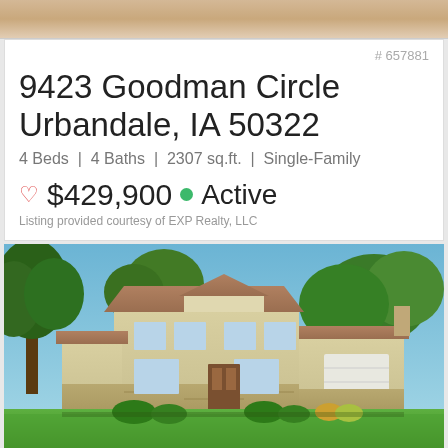[Figure (photo): Top strip showing partial view of a house exterior photo]
# 657881
9423 Goodman Circle
Urbandale, IA 50322
4 Beds | 4 Baths | 2307 sq.ft. | Single-Family
$429,900 • Active
Listing provided courtesy of EXP Realty, LLC
[Figure (photo): Exterior photo of a two-story single-family house at 9423 Goodman Circle, Urbandale IA, with large lawn, stone accents, and attached garage]
# 657606